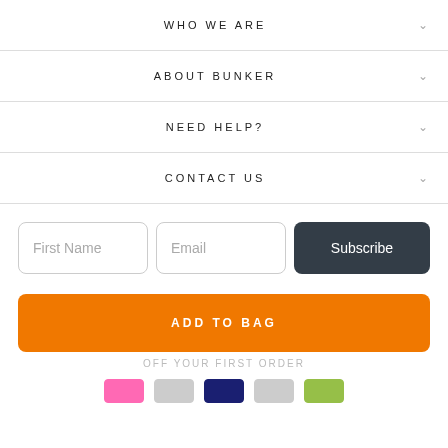WHO WE ARE
ABOUT BUNKER
NEED HELP?
CONTACT US
First Name
Email
Subscribe
ADD TO BAG
OFF YOUR FIRST ORDER